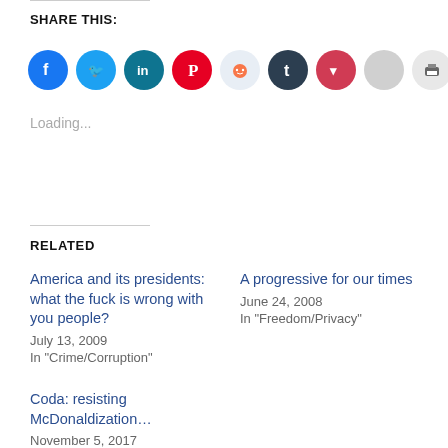SHARE THIS:
[Figure (infographic): Row of social media share icon buttons: Facebook (blue), Twitter (light blue), LinkedIn (teal), Pinterest (red), Reddit (light gray), Tumblr (dark navy), Pocket (red), unknown (gray), print (gray), email (gray)]
Loading...
RELATED
America and its presidents: what the fuck is wrong with you people?
July 13, 2009
In "Crime/Corruption"
A progressive for our times
June 24, 2008
In "Freedom/Privacy"
Coda: resisting McDonaldization…
November 5, 2017
In "American Culture"